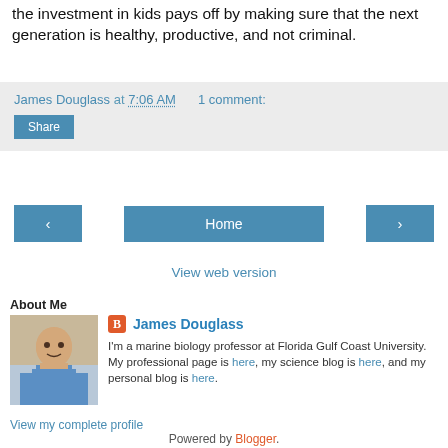the investment in kids pays off by making sure that the next generation is healthy, productive, and not criminal.
James Douglass at 7:06 AM   1 comment:
Share
[Figure (infographic): Navigation buttons: left arrow, Home, right arrow]
View web version
About Me
[Figure (photo): Profile photo of James Douglass, a man in a blue shirt]
James Douglass
I'm a marine biology professor at Florida Gulf Coast University. My professional page is here, my science blog is here, and my personal blog is here.
View my complete profile
Powered by Blogger.